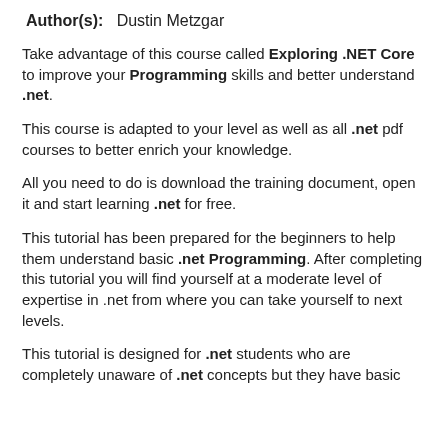Author(s): Dustin Metzgar
Take advantage of this course called Exploring .NET Core to improve your Programming skills and better understand .net.
This course is adapted to your level as well as all .net pdf courses to better enrich your knowledge.
All you need to do is download the training document, open it and start learning .net for free.
This tutorial has been prepared for the beginners to help them understand basic .net Programming. After completing this tutorial you will find yourself at a moderate level of expertise in .net from where you can take yourself to next levels.
This tutorial is designed for .net students who are completely unaware of .net concepts but they have basic